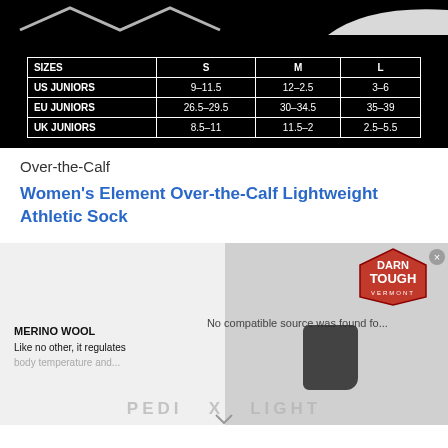[Figure (table-as-image): Black background image with a size chart table for juniors shoes in US, EU, UK sizing with S, M, L columns]
| SIZES | S | M | L |
| --- | --- | --- | --- |
| US JUNIORS | 9–11.5 | 12–2.5 | 3–6 |
| EU JUNIORS | 26.5–29.5 | 30–34.5 | 35–39 |
| UK JUNIORS | 8.5–11 | 11.5–2 | 2.5–5.5 |
Over-the-Calf
Women's Element Over-the-Calf Lightweight Athletic Sock
[Figure (screenshot): Video player screenshot with Darn Tough Vermont logo badge top right, Merino Wool text bottom left, 'No compatible source was found for this media.' message, sock image, and 'PEDI X LIGHT' watermark text at bottom]